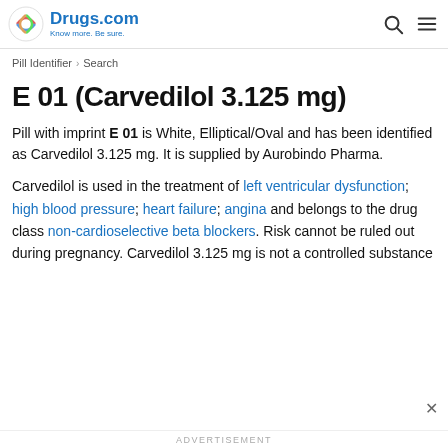Drugs.com — Know more. Be sure.
Pill Identifier > Search
E 01 (Carvedilol 3.125 mg)
Pill with imprint E 01 is White, Elliptical/Oval and has been identified as Carvedilol 3.125 mg. It is supplied by Aurobindo Pharma.
Carvedilol is used in the treatment of left ventricular dysfunction; high blood pressure; heart failure; angina and belongs to the drug class non-cardioselective beta blockers. Risk cannot be ruled out during pregnancy. Carvedilol 3.125 mg is not a controlled substance
ADVERTISEMENT